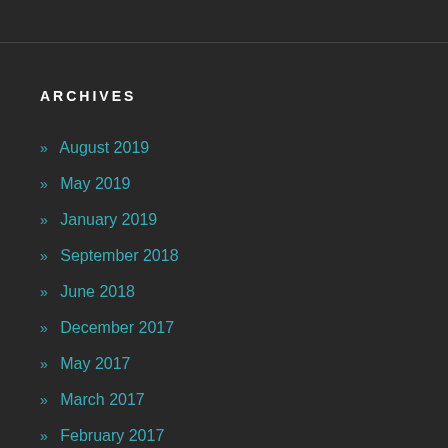ARCHIVES
» August 2019
» May 2019
» January 2019
» September 2018
» June 2018
» December 2017
» May 2017
» March 2017
» February 2017
» December 2016
» October 2016